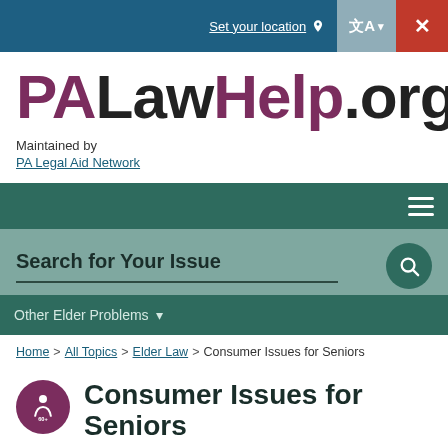Set your location
PALawHelp.org
Maintained by
PA Legal Aid Network
Search for Your Issue
Other Elder Problems
Home > All Topics > Elder Law > Consumer Issues for Seniors
Consumer Issues for Seniors